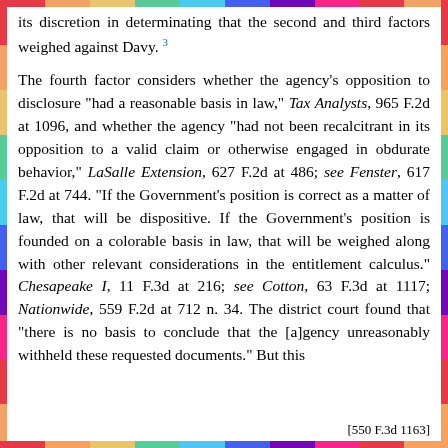its discretion in determinating that the second and third factors weighed against Davy. 3
The fourth factor considers whether the agency's opposition to disclosure "had a reasonable basis in law," Tax Analysts, 965 F.2d at 1096, and whether the agency "had not been recalcitrant in its opposition to a valid claim or otherwise engaged in obdurate behavior," LaSalle Extension, 627 F.2d at 486; see Fenster, 617 F.2d at 744. "If the Government's position is correct as a matter of law, that will be dispositive. If the Government's position is founded on a colorable basis in law, that will be weighed along with other relevant considerations in the entitlement calculus." Chesapeake I, 11 F.3d at 216; see Cotton, 63 F.3d at 1117; Nationwide, 559 F.2d at 712 n. 34. The district court found that "there is no basis to conclude that the [a]gency unreasonably withheld these requested documents." But this
[550 F.3d 1163]